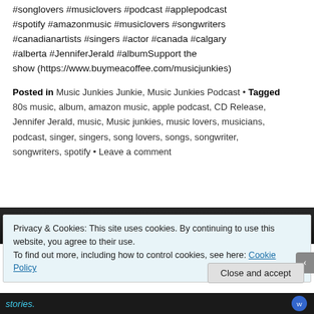#songlovers #musiclovers #podcast #applepodcast #spotify #amazonmusic #musiclovers #songwriters #canadianartists #singers #actor #canada #calgary #alberta #JenniferJerald #albumSupport the show (https://www.buymeacoffee.com/musicjunkies)
Posted in Music Junkies Junkie, Music Junkies Podcast • Tagged 80s music, album, amazon music, apple podcast, CD Release, Jennifer Jerald, music, Music junkies, music lovers, musicians, podcast, singer, singers, song lovers, songs, songwriter, songwriters, spotify • Leave a comment
[Figure (photo): Dark background image strip showing partial concert/music imagery]
Privacy & Cookies: This site uses cookies. By continuing to use this website, you agree to their use.
To find out more, including how to control cookies, see here: Cookie Policy
Close and accept
[Figure (photo): Bottom dark strip with stories text in teal and circular logo on right]